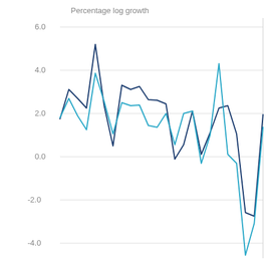[Figure (continuous-plot): A line chart showing two series (dark navy and light cyan) of percentage log growth over time. The y-axis ranges from approximately -4.5 to 6.0. Both series show similar patterns: moderate values around 2-3 in the early period, a peak near 5 around the 4th data point, fluctuations in the middle section between roughly -0.2 and 3.5, a spike to about 4.3 for the light series mid-chart, followed by a sharp decline to around -4.5 (light series) and -2.5 (dark series) near the end, before recovering to approximately 1.3-2.1.]